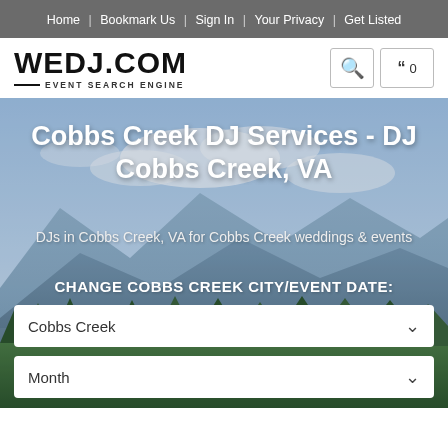Home | Bookmark Us | Sign In | Your Privacy | Get Listed
[Figure (logo): WEDJ.COM Event Search Engine logo with search icon and quote/bookmark icon showing 0]
Cobbs Creek DJ Services - DJ Cobbs Creek, VA
DJs in Cobbs Creek, VA for Cobbs Creek weddings & events
CHANGE COBBS CREEK CITY/EVENT DATE:
Cobbs Creek
Month